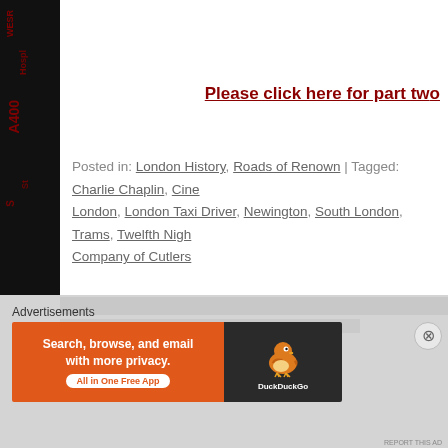[Figure (screenshot): Dark image strip at top of white content area]
Please click here for part two
Posted in: London History, Roads of Renown | Tagged: Charlie Chaplin, Cine... London, London Taxi Driver, Newington, South London, Trams, Twelfth Night... Company of Cutlers
[Figure (photo): Dark background with red London street name text collage map texture]
Advertisements
[Figure (screenshot): DuckDuckGo advertisement banner: Search, browse, and email with more privacy. All in One Free App.]